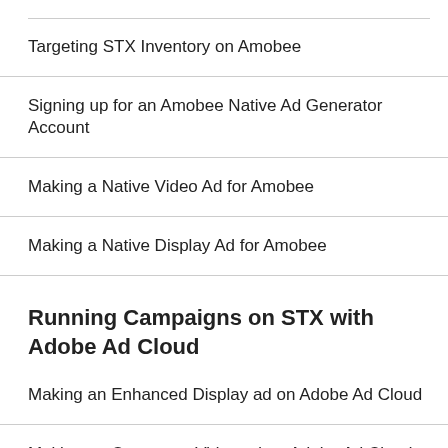Targeting STX Inventory on Amobee
Signing up for an Amobee Native Ad Generator Account
Making a Native Video Ad for Amobee
Making a Native Display Ad for Amobee
Running Campaigns on STX with Adobe Ad Cloud
Making an Enhanced Display ad on Adobe Ad Cloud
Making an Outstream Video ad on Adobe Ad Cloud